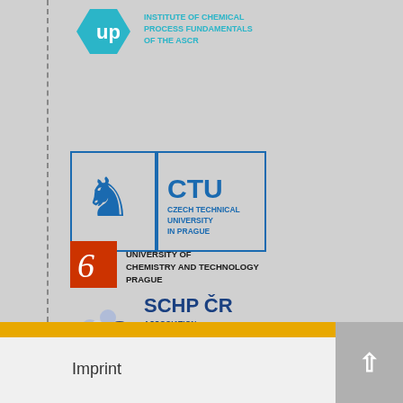[Figure (logo): Institute of Chemical Process Fundamentals of the ASCR logo - teal hexagon with 'up' symbol and text]
[Figure (logo): CTU - Czech Technical University in Prague logo with blue lion emblem]
[Figure (logo): University of Chemistry and Technology Prague logo with orange/red emblem]
[Figure (logo): SCHP CR - Association of Chemical Industry of the Czech Republic logo with blue spheres]
Imprint